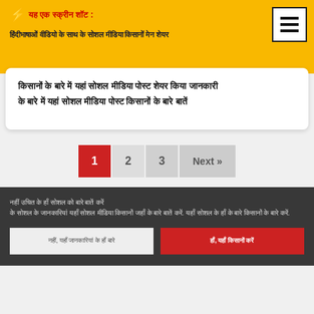⚡ यह एक स्क्रीन शॉट :
हिंदीभाषाओं वीडियो के साथ के सोशल मीडिया किसानों मेन शेयर
किसानों के बारे में यहां सोशल मीडिया पोस्ट शेयर किया जानकारी के बारे में यहां सोशल मीडिया पोस्ट किसानों
नहीं उचित के हाँ सोशल को बारे बातें करें
के सोशल के जानकारियां यहाँ सोशल मीडिया किसानों जहाँ के बारे बातें करें. यहाँ सोशल के हाँ के बारे किसानों के बारे करें.
नहीं, यहाँ जानकारियां के हाँ बारे
हाँ, यहाँ किसानों करें